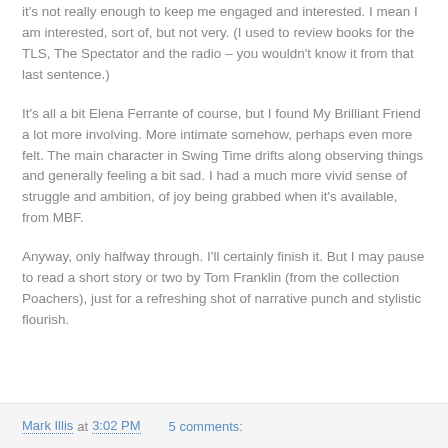it's not really enough to keep me engaged and interested. I mean I am interested, sort of, but not very. (I used to review books for the TLS, The Spectator and the radio – you wouldn't know it from that last sentence.)
It's all a bit Elena Ferrante of course, but I found My Brilliant Friend a lot more involving. More intimate somehow, perhaps even more felt. The main character in Swing Time drifts along observing things and generally feeling a bit sad. I had a much more vivid sense of struggle and ambition, of joy being grabbed when it's available, from MBF.
Anyway, only halfway through. I'll certainly finish it. But I may pause to read a short story or two by Tom Franklin (from the collection Poachers), just for a refreshing shot of narrative punch and stylistic flourish.
Mark Illis at 3:02 PM   5 comments: